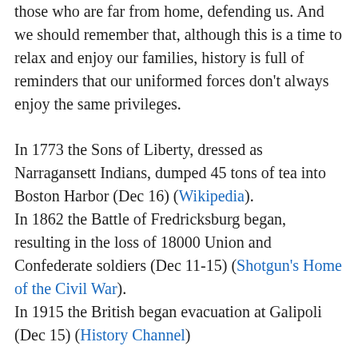those who are far from home, defending us. And we should remember that, although this is a time to relax and enjoy our families, history is full of reminders that our uniformed forces don't always enjoy the same privileges.
In 1773 the Sons of Liberty, dressed as Narragansett Indians, dumped 45 tons of tea into Boston Harbor (Dec 16) (Wikipedia).
In 1862 the Battle of Fredricksburg began, resulting in the loss of 18000 Union and Confederate soldiers (Dec 11-15) (Shotgun's Home of the Civil War).
In 1915 the British began evacuation at Galipoli (Dec 15) (History Channel)
In 1944 Germany began its Ardennes offensive, known to us as the Battle of the Bulge (Dec 16) (History Channel).
In 1950 Allied forces completed withdrawal through the port city of Hungnam, ending the brutal battle of Chosin